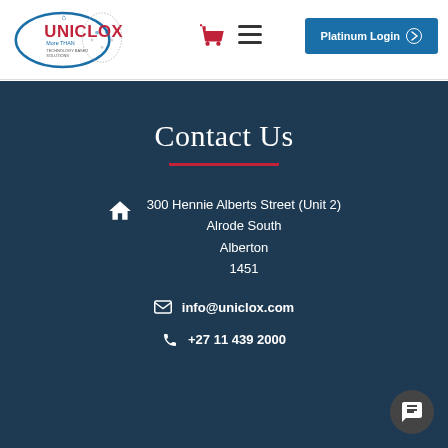[Figure (logo): Uniclox company logo with tagline 'TECHNOLOGY BASED SOLUTIONS']
Platinum Login →
Contact Us
300 Hennie Alberts Street (Unit 2)
Alrode South
Alberton
1451
info@uniclox.com
+27 11 439 2000